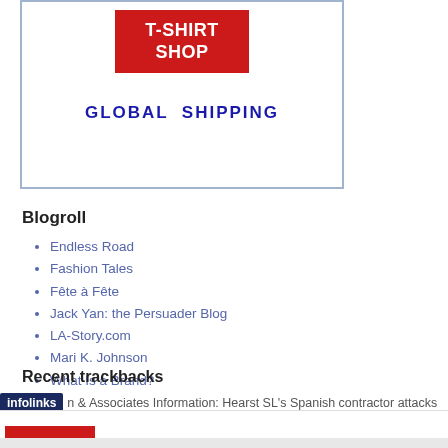[Figure (screenshot): T-SHIRT SHOP advertisement with GLOBAL SHIPPING text in a bordered box]
Blogroll
Endless Road
Fashion Tales
Fête à Fête
Jack Yan: the Persuader Blog
LA-Story.com
Mari K. Johnson
What Is a Brand?
—More links
Recent trackbacks
n & Associates Information: Hearst SL's Spanish contractor attacks
[Figure (screenshot): NFL Shop advertisement: Official NFL Gear, Get Your Favorite Team's Gear Here, www.nflshop.com, 60% OFF shown]